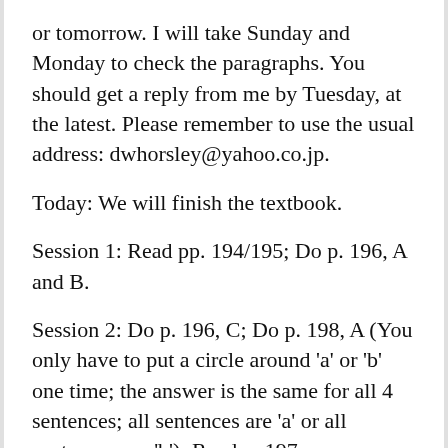or tomorrow. I will take Sunday and Monday to check the paragraphs. You should get a reply from me by Tuesday, at the latest. Please remember to use the usual address: dwhorsley@yahoo.co.jp.
Today: We will finish the textbook.
Session 1: Read pp. 194/195; Do p. 196, A and B.
Session 2: Do p. 196, C; Do p. 198, A (You only have to put a circle around 'a' or 'b' one time; the answer is the same for all 4 sentences; all sentences are 'a' or all sentences are 'b'); Read p. 197,